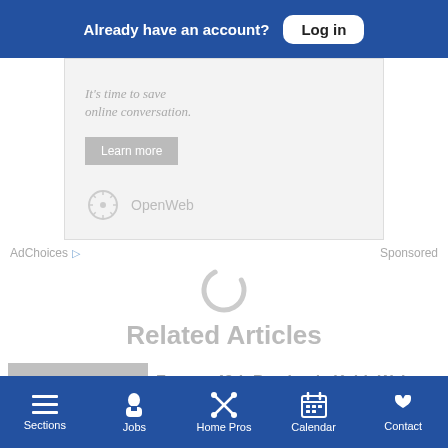Already have an account? Log in
[Figure (screenshot): OpenWeb advertisement box with text 'It's time to save online conversation.' and a 'Learn more' button, plus the OpenWeb logo at the bottom.]
AdChoices ▷   Sponsored
[Figure (other): Loading spinner (grey partial circle arc)]
Related Articles
[Figure (photo): Photo of people gathered, appears to be outdoors or at a restaurant setting.]
Former 49th Precinct's Keith Walton refuses deal,
Sections  Jobs  Home Pros  Calendar  Contact